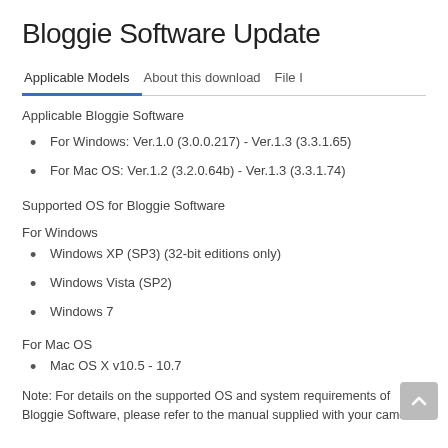Bloggie Software Update
Applicable Bloggie Software
For Windows: Ver.1.0 (3.0.0.217) - Ver.1.3 (3.3.1.65)
For Mac OS: Ver.1.2 (3.2.0.64b) - Ver.1.3 (3.3.1.74)
Supported OS for Bloggie Software
For Windows
Windows XP (SP3) (32-bit editions only)
Windows Vista (SP2)
Windows 7
For Mac OS
Mac OS X v10.5 - 10.7
Note: For details on the supported OS and system requirements of Bloggie Software, please refer to the manual supplied with your camera.